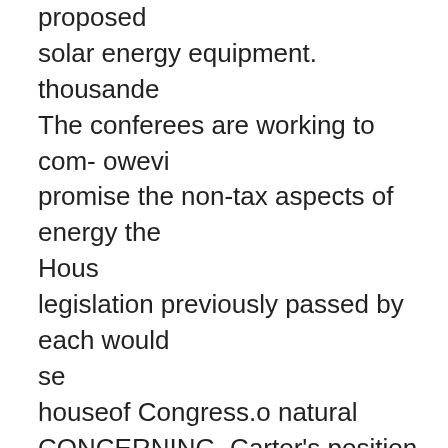proposed
solar energy equipment. thousande
The conferees are working to com- owevi
promise the non-tax aspects of energy the
Hous
legislation previously passed by each would
se
houseof Congress.o natural
CONCERNING, Carter's position on the finalg
the energy bill, Rep. Anthony Moffett, The H
(D-Conn.) said yesterday," "The Presi- while
the
dent told us that he would veto a bad price
of i